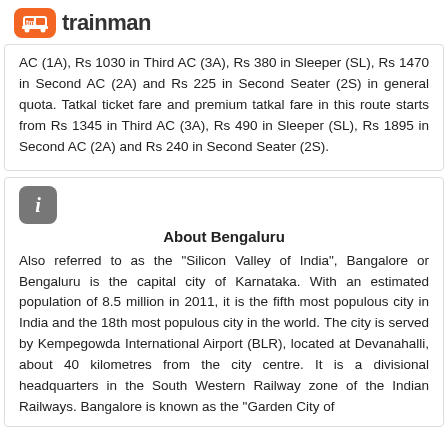[Figure (logo): Trainman logo — orange rounded rectangle with white train icon and 'tm' text, followed by 'trainman' wordmark in dark text]
AC (1A), Rs 1030 in Third AC (3A), Rs 380 in Sleeper (SL), Rs 1470 in Second AC (2A) and Rs 225 in Second Seater (2S) in general quota. Tatkal ticket fare and premium tatkal fare in this route starts from Rs 1345 in Third AC (3A), Rs 490 in Sleeper (SL), Rs 1895 in Second AC (2A) and Rs 240 in Second Seater (2S).
About Bengaluru
Also referred to as the "Silicon Valley of India", Bangalore or Bengaluru is the capital city of Karnataka. With an estimated population of 8.5 million in 2011, it is the fifth most populous city in India and the 18th most populous city in the world. The city is served by Kempegowda International Airport (BLR), located at Devanahalli, about 40 kilometres from the city centre. It is a divisional headquarters in the South Western Railway zone of the Indian Railways. Bangalore is known as the "Garden City of